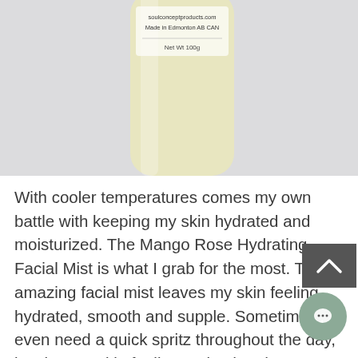[Figure (photo): A cylindrical bottle/container with a pale yellow color. The label on the bottle reads: soulconceptproducts.com, Made in Edmonton AB CAN, Net Wt 100g. The background is light gray.]
With cooler temperatures comes my own battle with keeping my skin hydrated and moisturized. The Mango Rose Hydrating Facial Mist is what I grab for the most. This amazing facial mist leaves my skin feeling hydrated, smooth and supple. Sometimes I even need a quick spritz throughout the day, leaving my skin feeling revived and pampered... definitely one of my